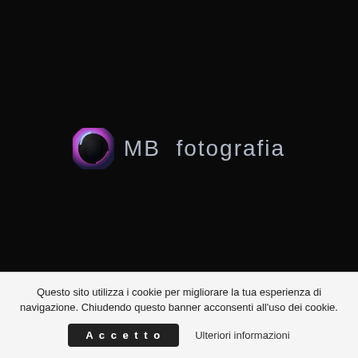[Figure (logo): OMB fotografia logo on dark background — hexagonal lens icon with blue/purple/pink metallic gradient and stylized text 'MB fotografia' in light grey sans-serif]
Questo sito utilizza i cookie per migliorare la tua esperienza di navigazione. Chiudendo questo banner acconsenti all'uso dei cookie.
Accetto
Ulteriori informazioni